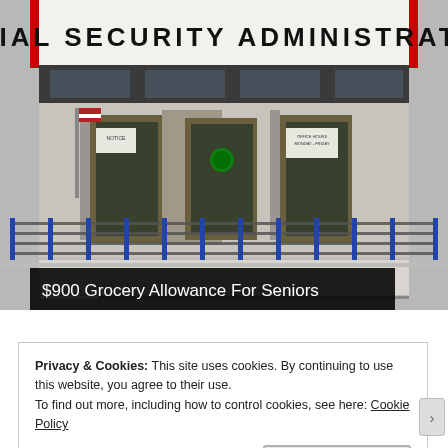[Figure (photo): Photograph of the exterior of a Social Security Administration building. A large sign reads 'SOCIAL SECURITY ADMINISTRATION' above the entrance. The building facade shows multiple doors, a metal railing ramp, navigation arrows overlay bottom-right, and red poles on either side of the sign. A US flag is visible. At the bottom of the image a black caption bar reads '$900 Grocery Allowance For Seniors'.]
$900 Grocery Allowance For Seniors
Privacy & Cookies: This site uses cookies. By continuing to use this website, you agree to their use.
To find out more, including how to control cookies, see here: Cookie Policy